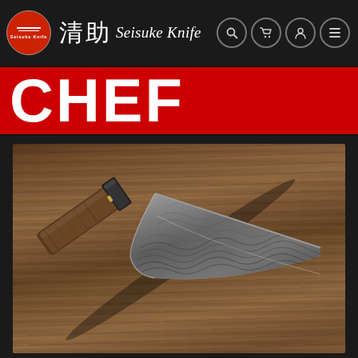[Figure (logo): Seisuke Knife logo: red circle with white knife/horizontal lines and small text, followed by Japanese kanji characters and italic brand name 'Seisuke Knife']
CHEF
[Figure (photo): A Japanese chef knife (gyuto/kiritsuke style) with a Damascus steel blade featuring intricate swirled pattern etching, dark octagonal handle with gold collar, photographed diagonally on a rustic dark wooden cutting board surface]